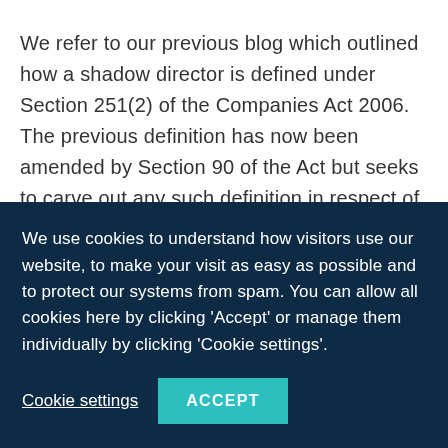We refer to our previous blog which outlined how a shadow director is defined under Section 251(2) of the Companies Act 2006. The previous definition has now been amended by Section 90 of the Act but seeks to carve out any such definition in respect of advisors (e.g. accountants) and instructions/guidance given by a representative of government.

Section 89 of the Act introduces a new Subsection (5) to Section 170 of the Companies Act 2006...
We use cookies to understand how visitors use our website, to make your visit as easy as possible and to protect our systems from spam. You can allow all cookies here by clicking 'Accept' or manage them individually by clicking 'Cookie settings'.